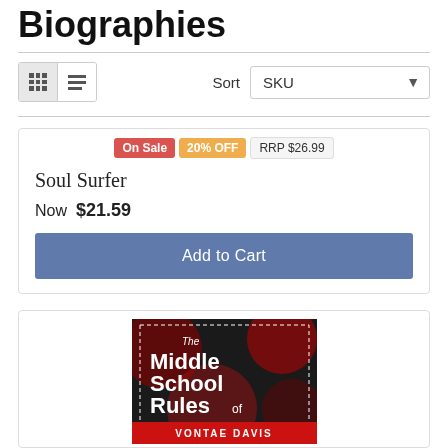Biographies
Sort SKU
On Sale 20% OFF RRP $26.99
Soul Surfer
Now $21.59
Add to Cart
[Figure (photo): Book cover of 'The Middle School Rules of Vontae Davis']